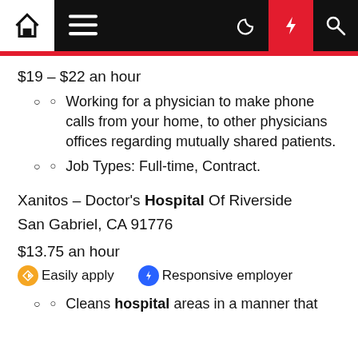Navigation bar with home, menu, dark mode, lightning, and search icons
$19 – $22 an hour
Working for a physician to make phone calls from your home, to other physicians offices regarding mutually shared patients.
Job Types: Full-time, Contract.
Xanitos – Doctor's Hospital Of Riverside
San Gabriel, CA 91776
$13.75 an hour
Easily apply   Responsive employer
Cleans hospital areas in a manner that